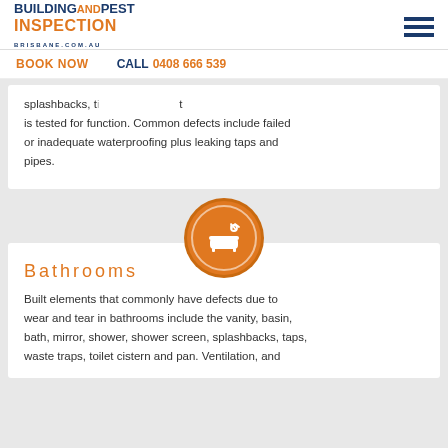[Figure (logo): Building And Pest Inspection Brisbane logo with orange and navy text]
BOOK NOW   CALL 0408 666 539
splashbacks, t... is tested for function. Common defects include failed or inadequate waterproofing plus leaking taps and pipes.
[Figure (illustration): Orange circle icon with white bathtub and shower symbol]
Bathrooms
Built elements that commonly have defects due to wear and tear in bathrooms include the vanity, basin, bath, mirror, shower, shower screen, splashbacks, taps, waste traps, toilet cistern and pan. Ventilation, and